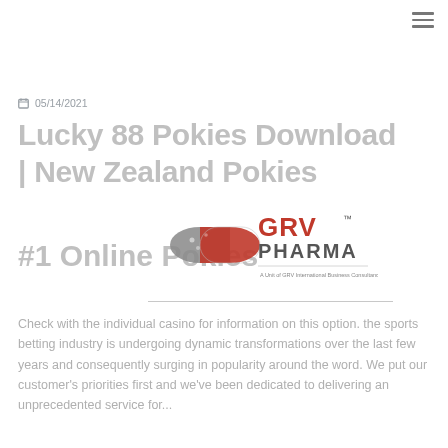☰
05/14/2021
Lucky 88 Pokies Download | New Zealand Pokies
[Figure (logo): GRV Pharma logo — a red/grey capsule pill icon with 'GRV PHARMA' text in red and grey, and subtitle 'A Unit of GRV International Business Consultancy LLP']
#1 Online Pokies
Check with the individual casino for information on this option. the sports betting industry is undergoing dynamic transformations over the last few years and consequently surging in popularity around the word. We put our customer's priorities first and we've been dedicated to delivering an unprecedented service for...